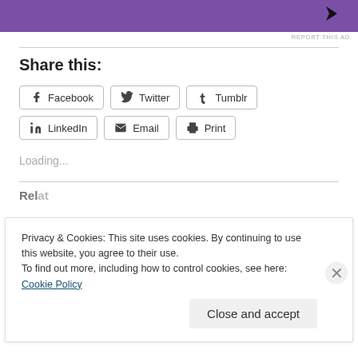[Figure (other): Purple advertisement banner with cursor/arrow icon at right]
REPORT THIS AD
Share this:
Facebook  Twitter  Tumblr  LinkedIn  Email  Print
Loading...
Privacy & Cookies: This site uses cookies. By continuing to use this website, you agree to their use. To find out more, including how to control cookies, see here: Cookie Policy
Close and accept